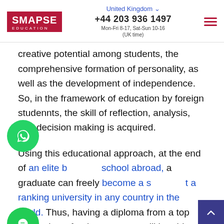SMAPSE EDUCATION | United Kingdom | +44 203 936 1497 | Mon-Fri 8-17, Sat-Sun 10-16 (UK time)
creative potential among students, the comprehensive formation of personality, as well as the development of independence. So, in the framework of education by foreign studennts, the skill of reflection, analysis, and decision making is acquired.
Using this educational approach, at the end of an elite boarding school abroad, a graduate can freely become a student at a ranking university in any country in the world. Thus, having a diploma from a top university, a foreign graduate will be able to get a well-paid position in a big international company, as well as reside in a foreign country.